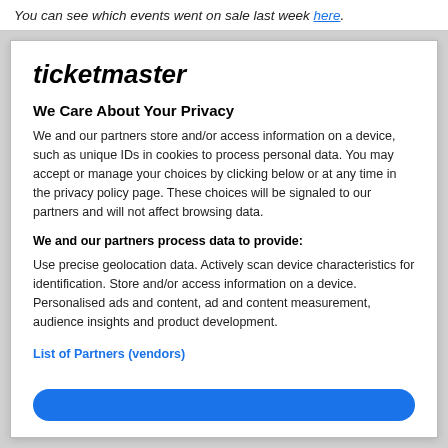You can see which events went on sale last week here.
ticketmaster
We Care About Your Privacy
We and our partners store and/or access information on a device, such as unique IDs in cookies to process personal data. You may accept or manage your choices by clicking below or at any time in the privacy policy page. These choices will be signaled to our partners and will not affect browsing data.
We and our partners process data to provide:
Use precise geolocation data. Actively scan device characteristics for identification. Store and/or access information on a device. Personalised ads and content, ad and content measurement, audience insights and product development.
List of Partners (vendors)